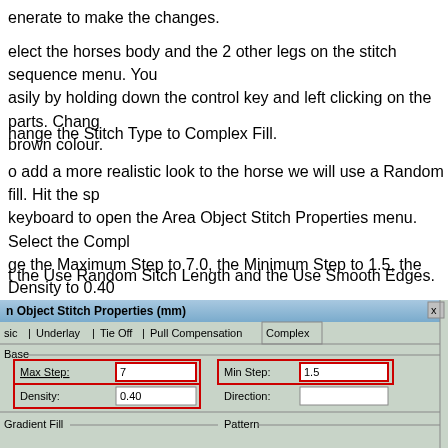enerate to make the changes.
elect the horses body and the 2 other legs on the stitch sequence menu. You easily by holding down the control key and left clicking on the parts. Chang brown colour.
hange the Stitch Type to Complex Fill.
o add a more realistic look to the horse we will use a Random fill. Hit the sp keyboard to open the Area Object Stitch Properties menu. Select the Compl ge the Maximum Step to 7.0, the Minimum Step to 1.5, the Density to 0.40 rection.
t the Use Random Sitch Length and the Use Smooth Edges.
[Figure (screenshot): Area Object Stitch Properties dialog box (mm) showing Basic, Underlay, Tie Off, Pull Compensation, Complex tabs. Complex tab is active. Base section shows Max Step: 7, Min Step: 1.5, Density: 0.40, Direction fields. Max Step, Min Step, and Density fields are highlighted with red borders. Gradient Fill and Pattern sections visible at bottom.]